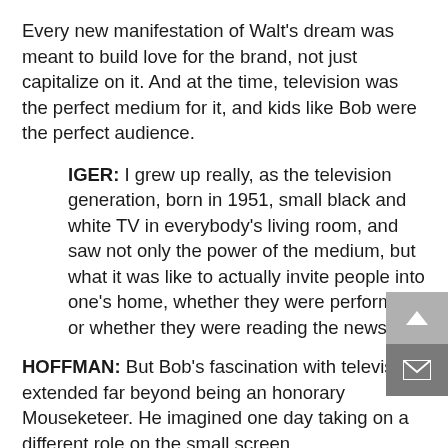Every new manifestation of Walt's dream was meant to build love for the brand, not just capitalize on it. And at the time, television was the perfect medium for it, and kids like Bob were the perfect audience.
IGER: I grew up really, as the television generation, born in 1951, small black and white TV in everybody's living room, and saw not only the power of the medium, but what it was like to actually invite people into one's home, whether they were performing or whether they were reading the news.
HOFFMAN: But Bob's fascination with television extended far beyond being an honorary Mouseketeer. He imagined one day taking on a different role on the small screen.